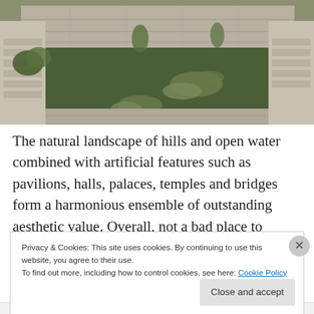[Figure (photo): Photograph of a traditional Chinese garden courtyard with stone balustrades and a green water pond with lily pads, surrounded by stone walls with carved railings.]
The natural landscape of hills and open water combined with artificial features such as pavilions, halls, palaces, temples and bridges form a harmonious ensemble of outstanding aesthetic value. Overall, not a bad place to
Privacy & Cookies: This site uses cookies. By continuing to use this website, you agree to their use.
To find out more, including how to control cookies, see here: Cookie Policy
Close and accept